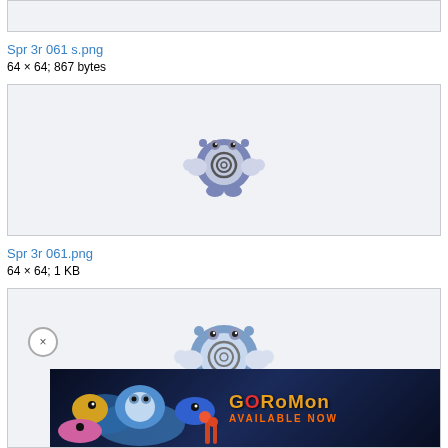[Figure (other): Top image box, partially visible, cut off at top]
Spr 3r 061 s.png
64 × 64; 867 bytes
[Figure (illustration): Poliwhirl/Poliwrath sprite - a blue frog-like Pokemon with a spiral pattern on its belly, small fists raised]
Spr 3r 061.png
64 × 64; 1 KB
[Figure (illustration): Larger Poliwrath illustration partially visible, with an advertisement banner overlay for Coromon game at the bottom]
[Figure (advertisement): Coromon game advertisement banner reading COROMON AVAILABLE NOW with fish/sea creature imagery]